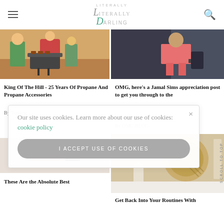Literally Darling
[Figure (photo): Animated scene with King of the Hill characters around a BBQ grill]
King Of The Hill - 25 Years Of Propane And Propane Accessories
By Topdust
[Figure (photo): Person in pink shorts standing by a car]
OMG, here's a Jamal Sims appreciation post to get you through the
By OMG.BLOG
[Figure (photo): Abstract icons on light background]
[Figure (photo): Decorative woven object and candle on white surface]
These Are the Absolute Best
Get Back Into Your Routines With
Our site uses cookies. Learn more about our use of cookies: cookie policy
I ACCEPT USE OF COOKIES